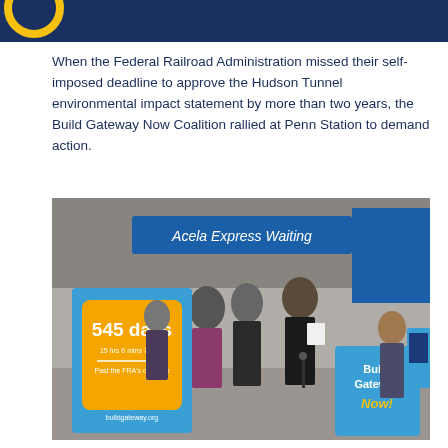[Figure (photo): Header banner with dark navy blue background and partial yellow circle logo on the left side]
When the Federal Railroad Administration missed their self-imposed deadline to approve the Hudson Tunnel environmental impact statement by more than two years, the Build Gateway Now Coalition rallied at Penn Station to demand action.
[Figure (photo): Photo of a rally at Penn Station with people gathered around signs. A large blue sign reads '545 days' in orange text with additional text below. Another blue sign reads 'Build Gateway Now!' in yellow text. The background shows an Acela Express Waiting area sign.]